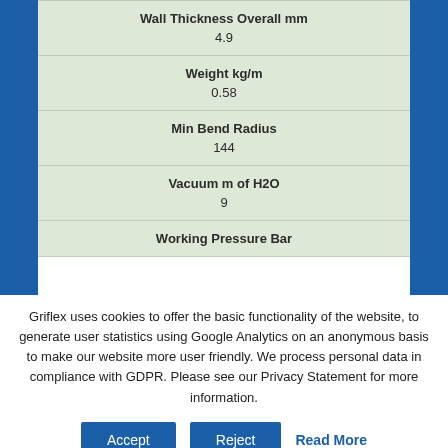| Wall Thickness Overall mm | 4.9 |
| Weight kg/m | 0.58 |
| Min Bend Radius | 144 |
| Vacuum m of H2O | 9 |
| Working Pressure Bar |  |
Griflex uses cookies to offer the basic functionality of the website, to generate user statistics using Google Analytics on an anonymous basis to make our website more user friendly. We process personal data in compliance with GDPR. Please see our Privacy Statement for more information.